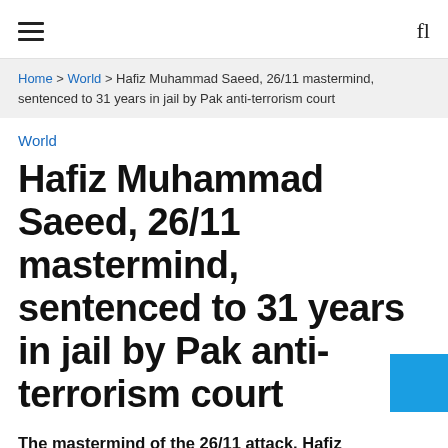≡   fl
Home > World > Hafiz Muhammad Saeed, 26/11 mastermind, sentenced to 31 years in jail by Pak anti-terrorism court
World
Hafiz Muhammad Saeed, 26/11 mastermind, sentenced to 31 years in jail by Pak anti-terrorism court
The mastermind of the 26/11 attack, Hafiz Muhammad Saeed, has been sentenced to 31 years by Pakistan's anti-terrorism court